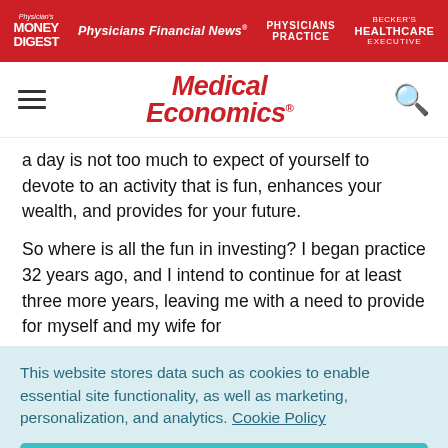Physician's Money Digest | Physicians Financial News | Physicians Practice | Healthcare Executive
[Figure (logo): Medical Economics logo in red italic serif font]
a day is not too much to expect of yourself to devote to an activity that is fun, enhances your wealth, and provides for your future.
So where is all the fun in investing? I began practice 32 years ago, and I intend to continue for at least three more years, leaving me with a need to provide for myself and my wife for
This website stores data such as cookies to enable essential site functionality, as well as marketing, personalization, and analytics. Cookie Policy
Accept
Deny